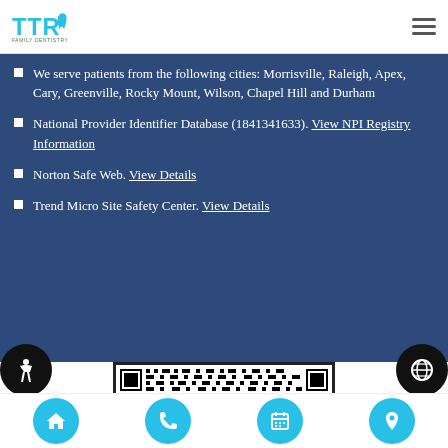TTR Family Dentistry logo and navigation
We serve patients from the following cities: Morrisville, Raleigh, Apex, Cary, Greenville, Rocky Mount, Wilson, Chapel Hill and Durham
National Provider Identifier Database (1841341633). View NPI Registry Information
Norton Safe Web. View Details
Trend Micro Site Safety Center. View Details
[Figure (other): QR code for TTR Family Dentistry website]
Navigation icons: home, phone, calendar, location